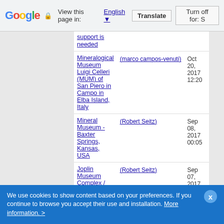Google | View this page in: English | Translate | Turn off for: S
| Topic | Author | Date | Stats |
| --- | --- | --- | --- |
| support is needed |  |  |  |
| Mineralogical Museum Luigi Celleri (MUM) of San Piero in Campo in Elba Island, Italy | (marco campos-venuti) | Oct 20, 2017 12:20 | Replies: 5  Views: 20898 |
| Mineral Museum - Baxter Springs, Kansas, USA | (Robert Seitz) | Sep 08, 2017 00:05 | Replies: 0  Views: 25480 |
| Joplin Museum Complex / The Everett J. Ritchie Tri-State Mineral Museum | (Robert Seitz) | Sep 07, 2017 11:25 | Replies: 10  Views: 27414 |
| Mineral Museums (small) in Franklin, North | (Robert Seitz) | Jul 17, 2017 15:57 | Replies: 6  Views: 21942 |
We use cookies to show content based on your preferences. If you continue to browse you accept their use and installation. More information. >